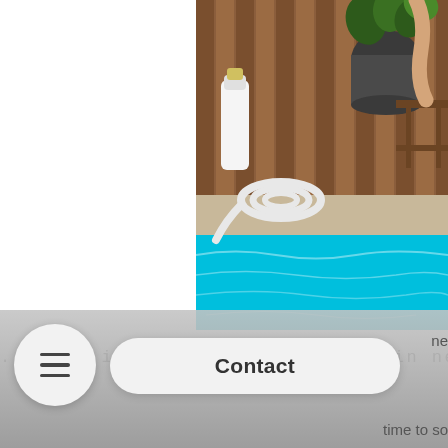[Figure (photo): Photograph of a bright blue swimming pool with a white hose/vacuum cleaner on the pool deck, wooden fence and potted plants in the background. The image is cropped showing the right portion of the page.]
.....it is time for us to grow in new wo
Contact
ne
time to so